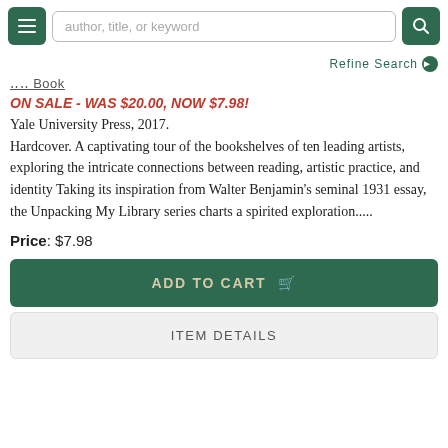[Figure (screenshot): Navigation bar with hamburger menu button, search input field with placeholder 'author, title, or keyword', and green search button with magnifying glass icon]
Refine Search ❯
... Book (truncated title, partially visible)
ON SALE - WAS $20.00, NOW $7.98!
Yale University Press, 2017. Hardcover. A captivating tour of the bookshelves of ten leading artists, exploring the intricate connections between reading, artistic practice, and identity Taking its inspiration from Walter Benjamin's seminal 1931 essay, the Unpacking My Library series charts a spirited exploration.....
Price: $7.98
ADD TO CART 🛒
ITEM DETAILS